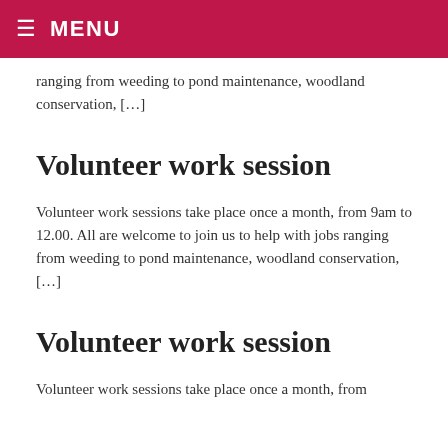☰ MENU
ranging from weeding to pond maintenance, woodland conservation, […]
Volunteer work session
Volunteer work sessions take place once a month, from 9am to 12.00. All are welcome to join us to help with jobs ranging from weeding to pond maintenance, woodland conservation, […]
Volunteer work session
Volunteer work sessions take place once a month, from